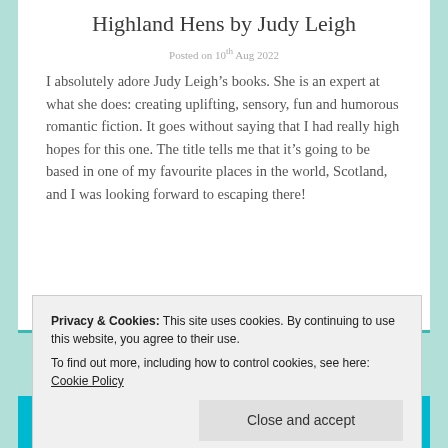Highland Hens by Judy Leigh
Posted on 10th Aug 2022
I absolutely adore Judy Leigh’s books. She is an expert at what she does: creating uplifting, sensory, fun and humorous romantic fiction. It goes without saying that I had really high hopes for this one. The title tells me that it’s going to be based in one of my favourite places in the world, Scotland, and I was looking forward to escaping there!
Privacy & Cookies: This site uses cookies. By continuing to use this website, you agree to their use. To find out more, including how to control cookies, see here: Cookie Policy
Close and accept
[Figure (other): Partial book cover image showing large bold stylized text in pink/magenta on a teal/cyan background, letters partially visible at bottom of page]